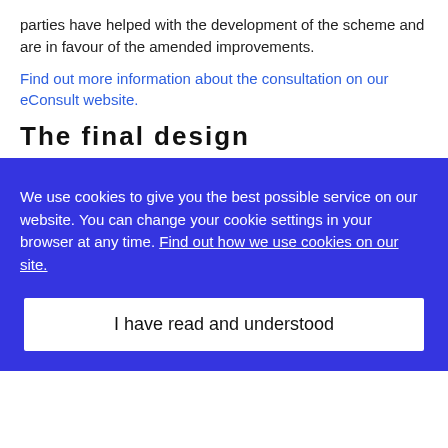parties have helped with the development of the scheme and are in favour of the amended improvements.
Find out more information about the consultation on our eConsult website.
The final design
We use cookies to give you the best possible service on our website. You can change your cookie settings in your browser at any time. Find out how we use cookies on our site.
I have read and understood